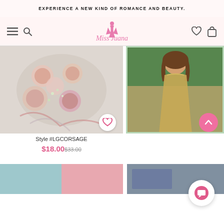EXPERIENCE A NEW KIND OF ROMANCE AND BEAUTY.
[Figure (logo): MissJuana script logo with decorative dress figure in pink]
[Figure (photo): Floral corsage accessories, pink and cream roses arranged on white background]
[Figure (photo): Woman in gold evening gown outdoors with Style Gallery text overlay]
Style #LGCORSAGE
$18.00 $33.00
[Figure (photo): Bottom left product thumbnail - blue/pink fabric]
[Figure (photo): Bottom right product thumbnail - dark fabric swatch]